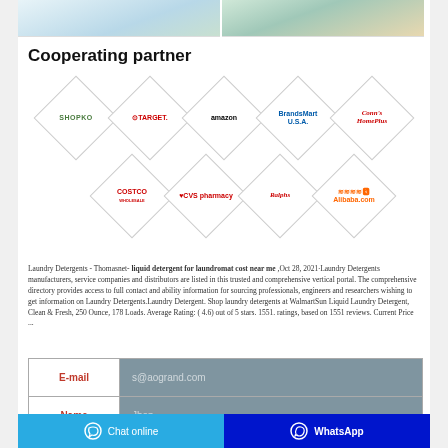[Figure (photo): Two factory/warehouse photos at top of page]
Cooperating partner
[Figure (infographic): Diamond-shaped grid of partner logos: Shopko, Target, Amazon, BrandsMart USA, Conn's HomePlus, Costco, CVS pharmacy, Ralphs, Alibaba.com]
Laundry Detergents - Thomasnet- liquid detergent for laundromat cost near me ,Oct 28, 2021·Laundry Detergents manufacturers, service companies and distributors are listed in this trusted and comprehensive vertical portal. The comprehensive directory provides access to full contact and ability information for sourcing professionals, engineers and researchers wishing to get information on Laundry Detergents.Laundry Detergent. Shop laundry detergents at WalmartSun Liquid Laundry Detergent, Clean & Fresh, 250 Ounce, 178 Loads. Average Rating: ( 4.6) out of 5 stars. 1551. ratings, based on 1551 reviews. Current Price ...
| Field | Value |
| --- | --- |
| E-mail | s@aogrand.com |
| Name | Jhon |
Chat online
WhatsApp